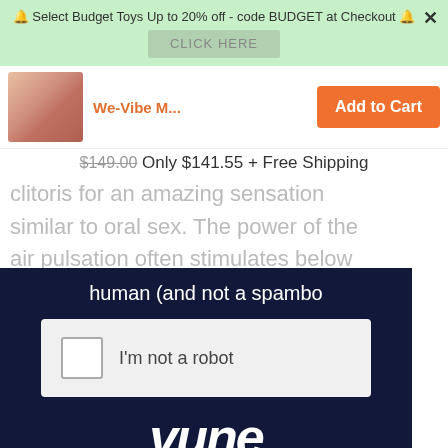🔔 Select Budget Toys Up to 20% off - code BUDGET at Checkout 🔔
CLICK HERE
[Figure (photo): Product thumbnail image of a red toy]
We-Vibe M...
Add to Cart
clitoris for an amazing sensation similar to oral sex. The power of the air pulsation often stimulates below the surface of the clitoris and into the arms deep within your body, leading to very intense, prolonged orgasms.
$149.00 Only $141.55 + Free Shipping
[Figure (screenshot): CAPTCHA widget showing 'human (and not a spambo...' text with 'I'm not a robot' checkbox and Vume logo at bottom]